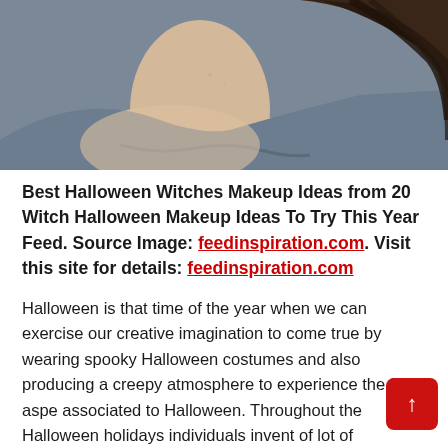[Figure (photo): Close-up photo of a person's shoulder and lower neck area wearing a grey/blue top, with dark brown hair visible. The background is a muted blue-grey color suggesting a casual or halloween-themed photoshoot.]
Best Halloween Witches Makeup Ideas from 20 Witch Halloween Makeup Ideas To Try This Year Feed. Source Image: feedinspiration.com. Visit this site for details: feedinspiration.com
Halloween is that time of the year when we can exercise our creative imagination to come true by wearing spooky Halloween costumes and also producing a creepy atmosphere to experience the fear aspe... associated to Halloween. Throughout the Halloween holidays individuals invent of lot of Halloween concepts